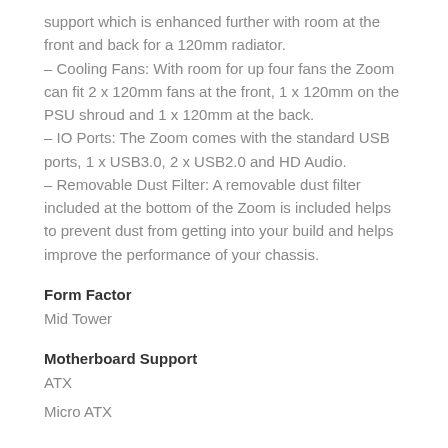support which is enhanced further with room at the front and back for a 120mm radiator.
– Cooling Fans: With room for up four fans the Zoom can fit 2 x 120mm fans at the front, 1 x 120mm on the PSU shroud and 1 x 120mm at the back.
– IO Ports: The Zoom comes with the standard USB ports, 1 x USB3.0, 2 x USB2.0 and HD Audio.
– Removable Dust Filter: A removable dust filter included at the bottom of the Zoom is included helps to prevent dust from getting into your build and helps improve the performance of your chassis.
Form Factor
Mid Tower
Motherboard Support
ATX
Micro ATX